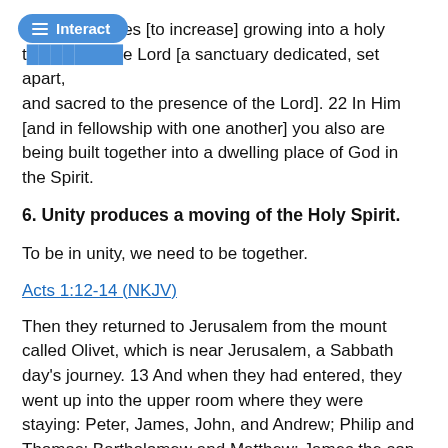and it continues [to increase] growing into a holy temple in the Lord [a sanctuary dedicated, set apart, and sacred to the presence of the Lord]. 22 In Him [and in fellowship with one another] you also are being built together into a dwelling place of God in the Spirit.
6. Unity produces a moving of the Holy Spirit.
To be in unity, we need to be together.
Acts 1:12-14 (NKJV)
Then they returned to Jerusalem from the mount called Olivet, which is near Jerusalem, a Sabbath day's journey. 13 And when they had entered, they went up into the upper room where they were staying: Peter, James, John, and Andrew; Philip and Thomas; Bartholomew and Matthew; James the son